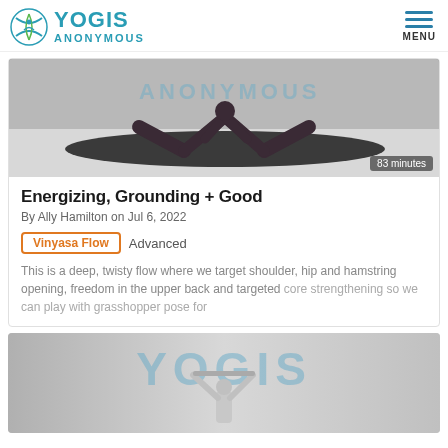YOGIS ANONYMOUS — MENU
[Figure (photo): Yoga practitioner in a wide-legged forward fold pose on a dark mat, with Yogis Anonymous watermark in background. Duration badge shows 83 minutes.]
Energizing, Grounding + Good
By Ally Hamilton on Jul 6, 2022
Vinyasa Flow   Advanced
This is a deep, twisty flow where we target shoulder, hip and hamstring opening, freedom in the upper back and targeted core strengthening so we can play with grasshopper pose for
[Figure (photo): Second yoga class thumbnail showing YOGIS text watermark and a person holding a yoga strap above their head against a grey gradient background.]